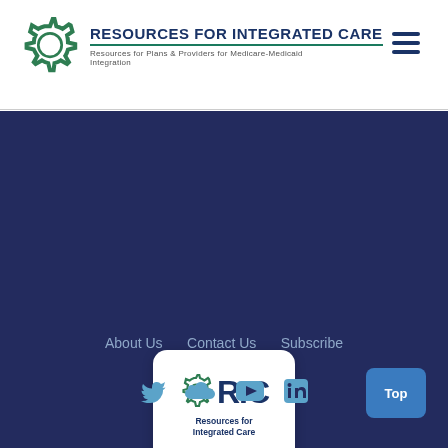[Figure (logo): Resources for Integrated Care logo with gear icon, title text, and subtitle 'Resources for Plans & Providers for Medicare-Medicaid Integration']
[Figure (logo): RIC (Resources for Integrated Care) logo in white rounded card on dark blue background, showing gear icon with RIC letters and tagline]
About Us   Contact Us   Subscribe
[Figure (infographic): Social media icons: Twitter bird, SoundCloud, YouTube play button, LinkedIn]
Top